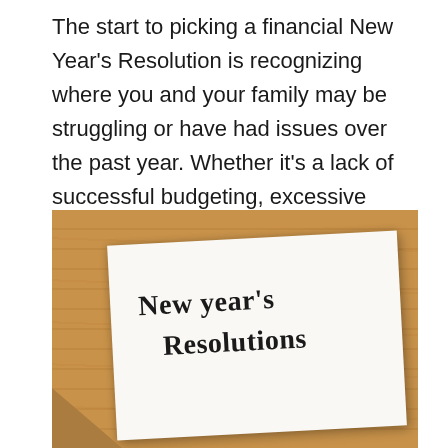The start to picking a financial New Year's Resolution is recognizing where you and your family may be struggling or have had issues over the past year. Whether it's a lack of successful budgeting, excessive spending, or a general lack of savings, you can tailor your resolution to your family's needs.
[Figure (photo): A photograph of a white note paper on a wooden background with handwritten text 'New year's Resolutions' in black marker.]